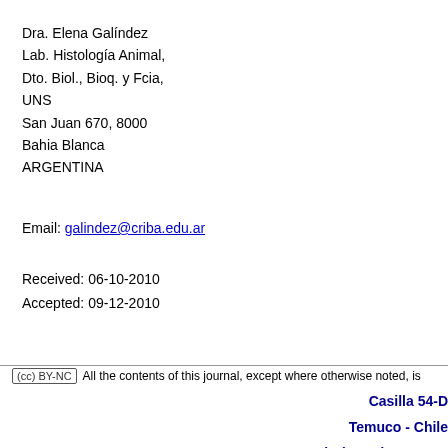Dra. Elena Galíndez
Lab. Histología Animal,
Dto. Biol., Bioq. y Fcia,
UNS
San Juan 670, 8000
Bahia Blanca
ARGENTINA
Email: galindez@criba.edu.ar
Received: 06-10-2010
Accepted: 09-12-2010
All the contents of this journal, except where otherwise noted, is
Casilla 54-D
Temuco - Chile
Tel.: (56-45) 232 5571
Fax: (56-45) 232 5600
[Figure (logo): e@Mail logo with stylized at-sign in red and Mail in dark blue italic]
ijmorpho@ufrontera.cl